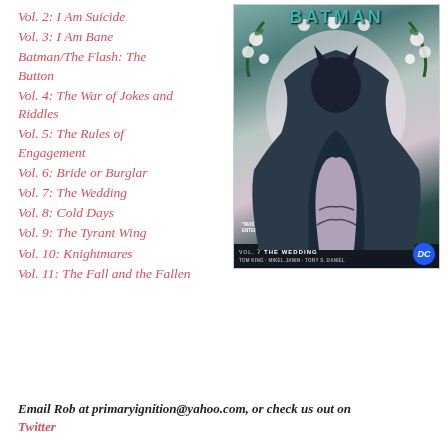Vol. 2: I Am Suicide
Vol. 3: I Am Bane
Batman/The Flash: The Button
Vol. 4: The War of Jokes and Riddles
Vol. 5: The Rules of Engagement
Vol. 6: Bride or Burglar
Vol. 7: The Wedding
Vol. 8: Cold Days
Vol. 9: The Tyrant Wing
Vol. 10: Knightmares
Vol. 11: The Fall and the Fallen
[Figure (illustration): Batman Vol. 7: The Wedding comic book cover showing Batman and Catwoman in an embrace, surrounded by roses and greenery. DC Comics logo in lower right. Text at bottom reads VOL.7 THE WEDDING, Tom King, Mikel Janin, Tony S. Daniel. Entertainment Weekly pull quote at lower left.]
Email Rob at primaryignition@yahoo.com, or check us out on Twitter